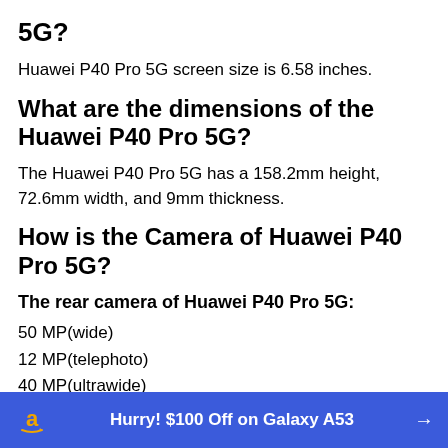5G?
Huawei P40 Pro 5G screen size is 6.58 inches.
What are the dimensions of the Huawei P40 Pro 5G?
The Huawei P40 Pro 5G has a 158.2mm height, 72.6mm width, and 9mm thickness.
How is the Camera of Huawei P40 Pro 5G?
The rear camera of Huawei P40 Pro 5G:
50 MP(wide)
12 MP(telephoto)
40 MP(ultrawide)
TOF 3D(depth)
Hurry! $100 Off on Galaxy A53